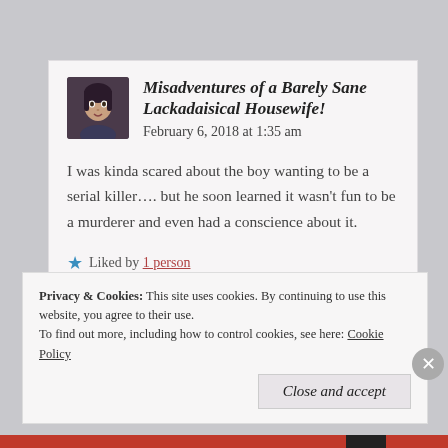[Figure (screenshot): Blog comment from 'Misadventures of a Barely Sane Lackadaisical Housewife!' dated February 6, 2018 at 1:35 am, with avatar photo of a woman with dark hair. Comment text: 'I was kinda scared about the boy wanting to be a serial killer.... but he soon learned it wasn't fun to be a murderer and even had a conscience about it.' Liked by 1 person.]
Privacy & Cookies: This site uses cookies. By continuing to use this website, you agree to their use. To find out more, including how to control cookies, see here: Cookie Policy